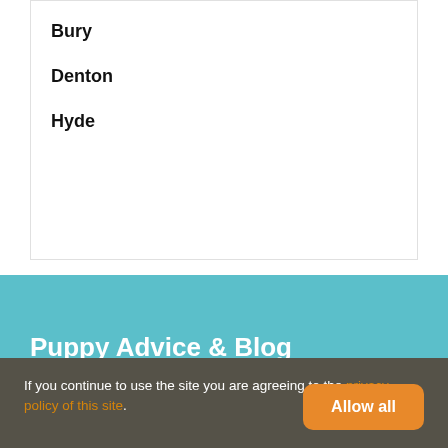Bury
Denton
Hyde
Puppy Advice & Blog
Social Media
If you continue to use the site you are agreeing to the privacy policy of this site.